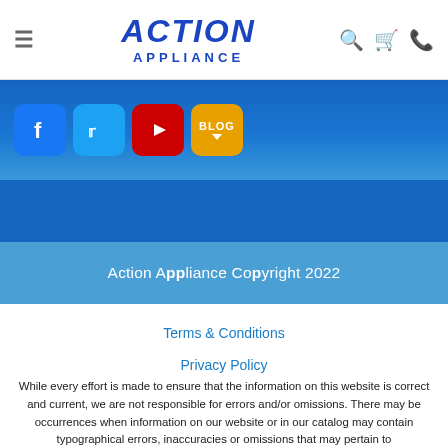ACTION APPLIANCE — navigation header with hamburger menu, search, cart, and phone icons
[Figure (screenshot): Social media icons strip on blue background: Facebook, Twitter, YouTube, Blog]
Action Appliance Copyright 2022
Terms & Conditions
Privacy Policy
While every effort is made to ensure that the information on this website is correct and current, we are not responsible for errors and/or omissions. There may be occurrences when information on our website or in our catalog may contain typographical errors, inaccuracies or omissions that may pertain to